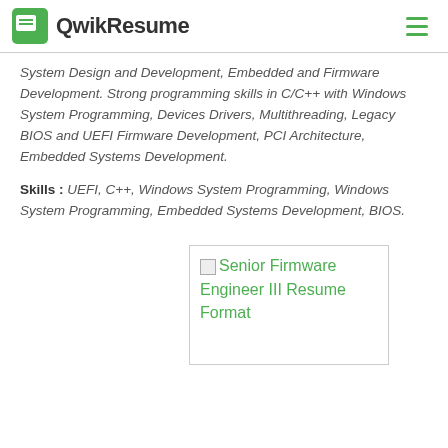QwikResume
System Design and Development, Embedded and Firmware Development. Strong programming skills in C/C++ with Windows System Programming, Devices Drivers, Multithreading, Legacy BIOS and UEFI Firmware Development, PCI Architecture, Embedded Systems Development.
Skills : UEFI, C++, Windows System Programming, Windows System Programming, Embedded Systems Development, BIOS.
[Figure (screenshot): Broken image placeholder labeled 'Senior Firmware Engineer III Resume Format' shown as a link in green text within a bordered box]